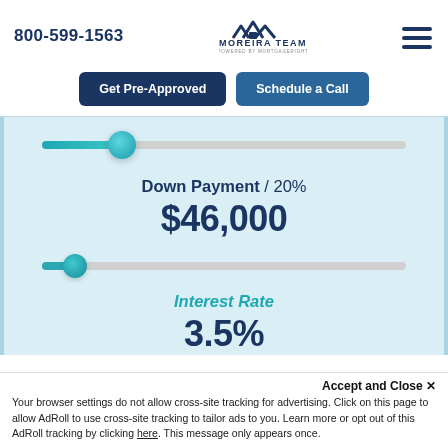800-599-1563
[Figure (logo): Moreira Team logo with house/roof icon and text 'MOREIRA TEAM POWERED BY MORTGAGERIGHT']
[Figure (other): Hamburger menu icon (three horizontal lines)]
Get Pre-Approved
Schedule a Call
[Figure (other): Horizontal slider control showing down payment at approximately 20%]
Down Payment / 20%
$46,000
[Figure (other): Horizontal slider control for interest rate]
Interest Rate
3.5%
Accept and Close ✕
Your browser settings do not allow cross-site tracking for advertising. Click on this page to allow AdRoll to use cross-site tracking to tailor ads to you. Learn more or opt out of this AdRoll tracking by clicking here. This message only appears once.